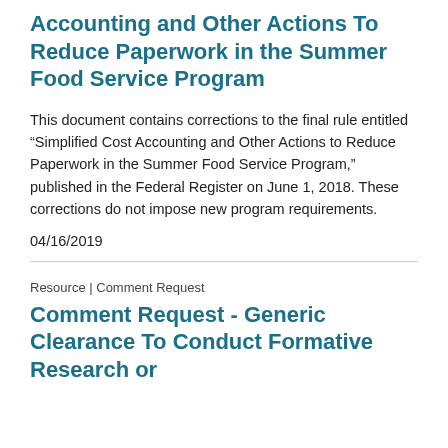Accounting and Other Actions To Reduce Paperwork in the Summer Food Service Program
This document contains corrections to the final rule entitled “Simplified Cost Accounting and Other Actions to Reduce Paperwork in the Summer Food Service Program,” published in the Federal Register on June 1, 2018. These corrections do not impose new program requirements.
04/16/2019
Resource | Comment Request
Comment Request - Generic Clearance To Conduct Formative Research or